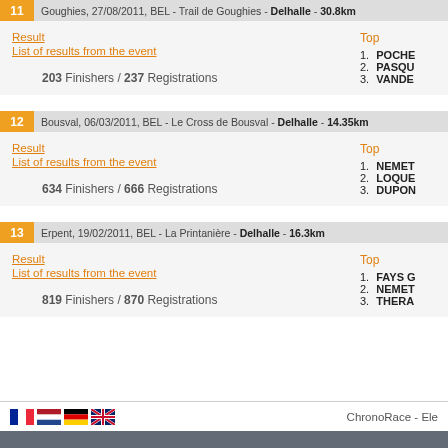11 - Goughies, 27/08/2011, BEL - Trail de Goughies - Delhalle - 30.8km
Result
List of results from the event
203 Finishers / 237 Registrations
Top
1. POCHE
2. PASQU
3. VANDE
12 - Bousval, 06/03/2011, BEL - Le Cross de Bousval - Delhalle - 14.35km
Result
List of results from the event
634 Finishers / 666 Registrations
Top
1. NEMET
2. LOQUE
3. DUPON
13 - Erpent, 19/02/2011, BEL - La Printanière - Delhalle - 16.3km
Result
List of results from the event
819 Finishers / 870 Registrations
Top
1. FAYS G
2. NEMET
3. THERA
ChronoRace - Ele